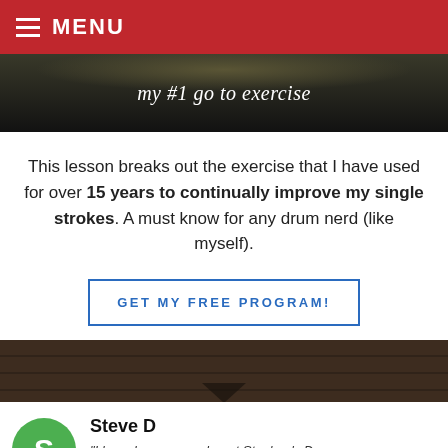MENU
my #1 go to exercise
This lesson breaks out the exercise that I have used for over 15 years to continually improve my single strokes. A must know for any drum nerd (like myself).
GET MY FREE PROGRAM!
[Figure (photo): Brick wall background image]
Steve D
"I have been a member at Stephen's Drum Shed for a couple of years now. I have found it a very valuable resource . I have dabbled in drums for years but was not progressing to
Google ★★★★★